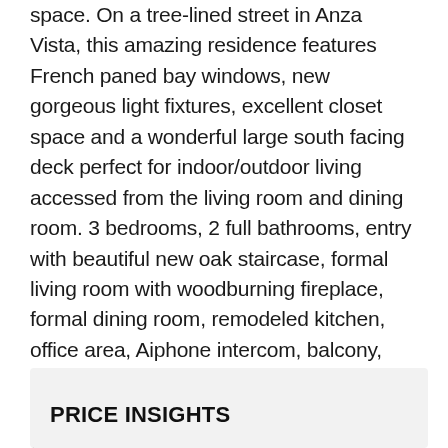space. On a tree-lined street in Anza Vista, this amazing residence features French paned bay windows, new gorgeous light fixtures, excellent closet space and a wonderful large south facing deck perfect for indoor/outdoor living accessed from the living room and dining room. 3 bedrooms, 2 full bathrooms, entry with beautiful new oak staircase, formal living room with woodburning fireplace, formal dining room, remodeled kitchen, office area, Aiphone intercom, balcony, one car garage parking, storage room, laundry, common landscaped courtyard with mature trees and blooming plants. Newly painted interior throughout, newly refinished oak parquet floors, hardwood floors, new thermostats. Walk Score of 94, a Walker's Paradise! Enjoy all of the neighborhood amenities. Do not miss!
PRICE INSIGHTS